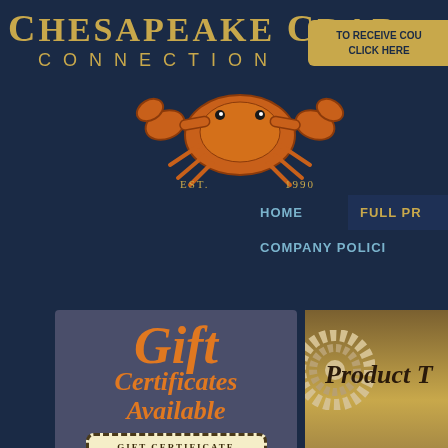[Figure (screenshot): Chesapeake Crab Connection website screenshot showing logo with orange crab illustration, navigation menu, gift certificates section, In My Cart section, and Product Tour section]
Chesapeake Crab Connection
EST. 1990
TO RECEIVE COU CLICK HERE
HOME
FULL PR
COMPANY POLICI
Gift Certificates Available
GIFT CERTIFICATE
357650
In My Cart
Total Items: 0
Product T
st give us the word: ryland Blue Crab Steaks ily Caught & Ready to Serve Sautéed Crab Meat